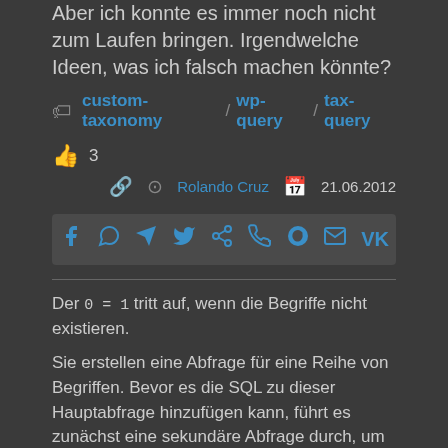Aber ich konnte es immer noch nicht zum Laufen bringen. Irgendwelche Ideen, was ich falsch machen könnte?
custom-taxonomy  wp-query  tax-query
3
Rolando Cruz  21.06.2012
[Figure (other): Social media share bar with icons: Facebook, WhatsApp, Telegram, Twitter, Share, Phone, Reddit, Email, VK]
Der 0 = 1 tritt auf, wenn die Begriffe nicht existieren.
Sie erstellen eine Abfrage für eine Reihe von Begriffen. Bevor es die SQL zu dieser Hauptabfrage hinzufügen kann, führt es zunächst eine sekundäre Abfrage durch, um die term_ids für die relevanten Begriffe abzurufen. Wenn keine gefunden werden, wird stattdessen 0 = 1